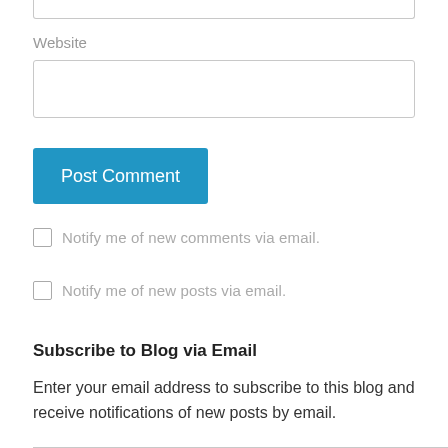Website
Post Comment
Notify me of new comments via email.
Notify me of new posts via email.
Subscribe to Blog via Email
Enter your email address to subscribe to this blog and receive notifications of new posts by email.